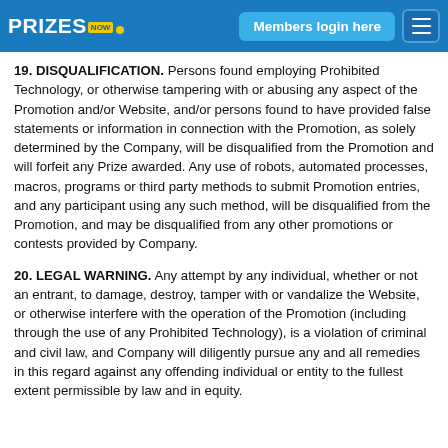PRIZES NOW — Members login here [navigation]
19. DISQUALIFICATION. Persons found employing Prohibited Technology, or otherwise tampering with or abusing any aspect of the Promotion and/or Website, and/or persons found to have provided false statements or information in connection with the Promotion, as solely determined by the Company, will be disqualified from the Promotion and will forfeit any Prize awarded. Any use of robots, automated processes, macros, programs or third party methods to submit Promotion entries, and any participant using any such method, will be disqualified from the Promotion, and may be disqualified from any other promotions or contests provided by Company.
20. LEGAL WARNING. Any attempt by any individual, whether or not an entrant, to damage, destroy, tamper with or vandalize the Website, or otherwise interfere with the operation of the Promotion (including through the use of any Prohibited Technology), is a violation of criminal and civil law, and Company will diligently pursue any and all remedies in this regard against any offending individual or entity to the fullest extent permissible by law and in equity.